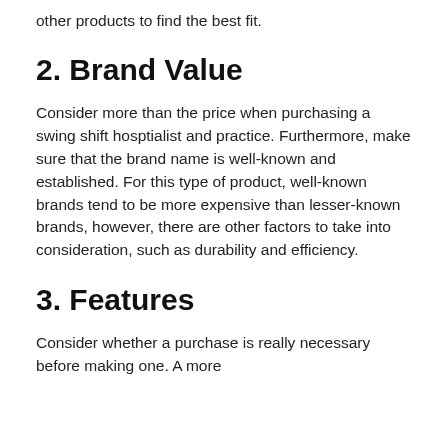other products to find the best fit.
2. Brand Value
Consider more than the price when purchasing a swing shift hosptialist and practice. Furthermore, make sure that the brand name is well-known and established. For this type of product, well-known brands tend to be more expensive than lesser-known brands, however, there are other factors to take into consideration, such as durability and efficiency.
3. Features
Consider whether a purchase is really necessary before making one. A more